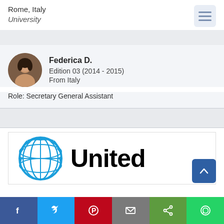Rome, Italy
University
Federica D.
Edition 03 (2014 - 2015)
From Italy
Role: Secretary General Assistant
[Figure (logo): United Nations logo with blue globe emblem and the text 'United' in large bold black font]
[Figure (other): Social media sharing bar with Facebook, Twitter, Pinterest, Email, Share, and WhatsApp buttons]